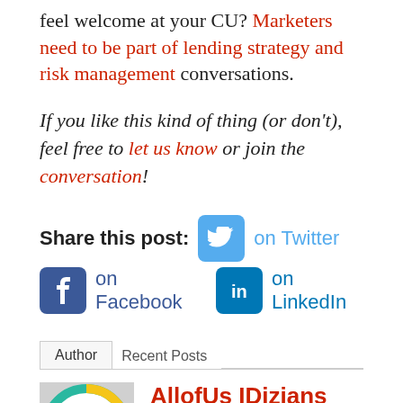feel welcome at your CU? Marketers need to be part of lending strategy and risk management conversations.
If you like this kind of thing (or don't), feel free to let us know or join the conversation!
Share this post: on Twitter on Facebook on LinkedIn
Author Recent Posts
AllofUs IDizians
A quixotic compilation of creatives, completely focused on contributing to the